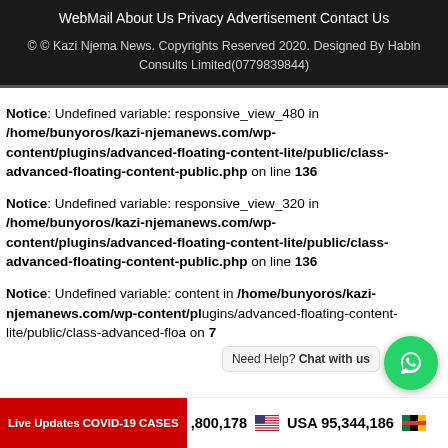WebMail   About Us   Privacy   Advertisement   Contact Us
© © Kazi Njema News. Copyrights Reserved 2020. Designed By Habin Consults Limited(0779839844)
Notice: Undefined variable: responsive_view_480 in /home/bunyoros/kazi-njemanews.com/wp-content/plugins/advanced-floating-content-lite/public/class-advanced-floating-content-public.php on line 136
Notice: Undefined variable: responsive_view_320 in /home/bunyoros/kazi-njemanews.com/wp-content/plugins/advanced-floating-content-lite/public/class-advanced-floating-content-public.php on line 136
Notice: Undefined variable: content in /home/bunyoros/kazi-njemanews.com/wp-content/plugins/advanced-floating-content-lite/public/class-advanced-floa... on line 7